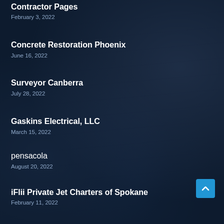Contractor Pages
February 3, 2022
Concrete Restoration Phoenix
June 16, 2022
Surveyor Canberra
July 28, 2022
Gaskins Electrical, LLC
March 15, 2022
pensacola
August 20, 2022
iFlii Private Jet Charters of Spokane
February 11, 2022